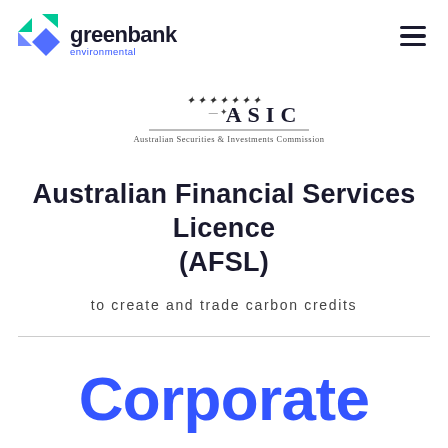greenbank environmental
[Figure (logo): ASIC - Australian Securities & Investments Commission logo with decorative emblem]
Australian Financial Services Licence (AFSL)
to create and trade carbon credits
Corporate